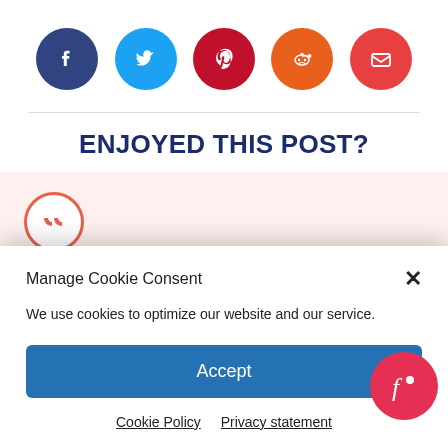[Figure (infographic): Five social media sharing icons (Facebook, Twitter, Pinterest, Reddit, Email) as colored circles with white icons on white background]
ENJOYED THIS POST?
[Figure (other): Pink/salmon tinted section with partial orange quote icon circle at bottom left]
Manage Cookie Consent
We use cookies to optimize our website and our service.
Accept
Cookie Policy   Privacy statement